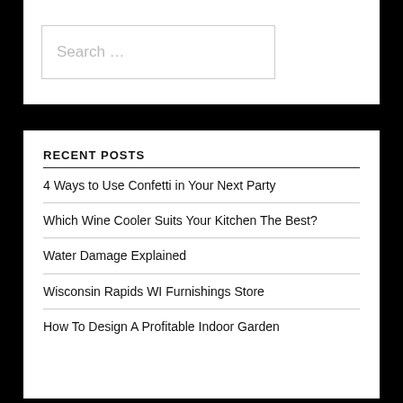Search ...
RECENT POSTS
4 Ways to Use Confetti in Your Next Party
Which Wine Cooler Suits Your Kitchen The Best?
Water Damage Explained
Wisconsin Rapids WI Furnishings Store
How To Design A Profitable Indoor Garden